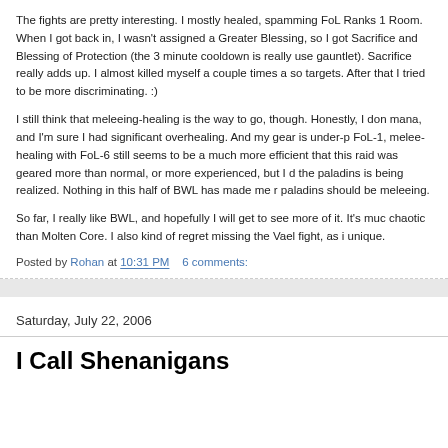The fights are pretty interesting. I mostly healed, spamming FoL Ranks 1 Room. When I got back in, I wasn't assigned a Greater Blessing, so I got Sacrifice and Blessing of Protection (the 3 minute cooldown is really use gauntlet). Sacrifice really adds up. I almost killed myself a couple times a so targets. After that I tried to be more discriminating. :)
I still think that meleeing-healing is the way to go, though. Honestly, I don mana, and I'm sure I had significant overhealing. And my gear is under-p FoL-1, melee-healing with FoL-6 still seems to be a much more efficient that this raid was geared more than normal, or more experienced, but I d the paladins is being realized. Nothing in this half of BWL has made me r paladins should be meleeing.
So far, I really like BWL, and hopefully I will get to see more of it. It's muc chaotic than Molten Core. I also kind of regret missing the Vael fight, as i unique.
Posted by Rohan at 10:31 PM   6 comments:
Saturday, July 22, 2006
I Call Shenanigans